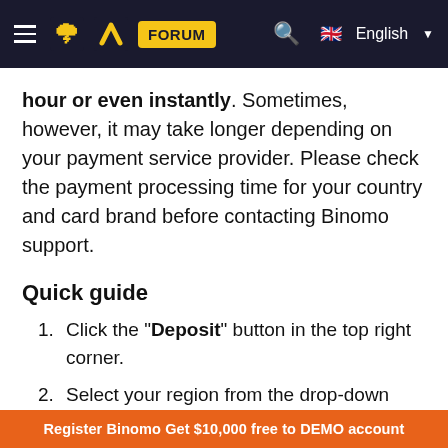FORUM | English
hour or even instantly. Sometimes, however, it may take longer depending on your payment service provider. Please check the payment processing time for your country and card brand before contacting Binomo support.
Quick guide
Click the "Deposit" button in the top right corner.
Select your region from the drop-down "Country" menu.
Choose a card brand (i.e. Visa, Mastercard).
Register Binomo Get $10,000 free to DEMO account